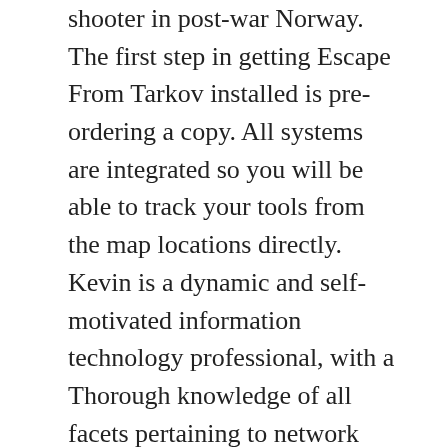shooter in post-war Norway. The first step in getting Escape From Tarkov installed is pre-ordering a copy. All systems are integrated so you will be able to track your tools from the map locations directly. Kevin is a dynamic and self-motivated information technology professional, with a Thorough knowledge of all facets pertaining to network infrastructure design, implementation and administration. Fix: Escape from Tarkov Failed to Launch Game. Start the Epic Games Launcher. I dont know if this will help, but I just deleted the folder that EGS Luncher wanted to download the game to, and when i tried downloading the game again it asked me for instalation path, so I just put it on my preferred drive and it worked. iv fresh installed both the launcher and the game twice now. So I went to download the new EFT update from the launcher today, had to redownload it because I couldn't find the